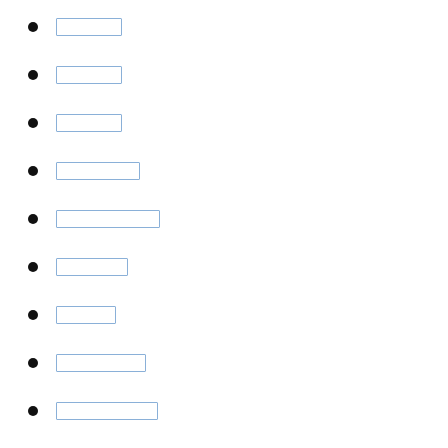[redacted link 1]
[redacted link 2]
[redacted link 3]
[redacted link 4]
[redacted link 5]
[redacted link 6]
[redacted link 7]
[redacted link 8]
[redacted link 9]
[redacted link 10]
[redacted link 11]
[redacted link 12]
[redacted link 13]